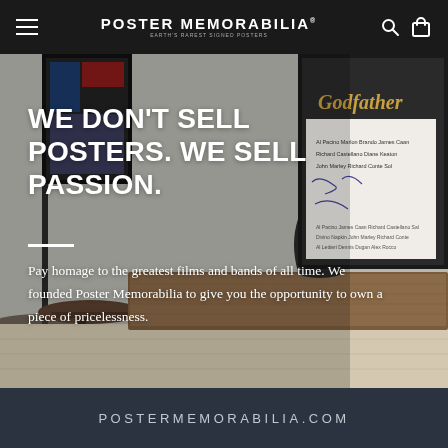POSTER MEMORABILIA
[Figure (photo): Interior room scene with wooden console table, dark ceramic vase, framed movie posters on the wall including The Godfather signed poster, and a round side table. Text overlay on the photo reads the hero tagline and body copy.]
WE DON'T SELL POSTERS. WE SELL PASSION.
Pay homage to the greatest films and bands of all time. We founded Poster Memorabilia to give you the opportunity to own a piece of pricelessness.
POSTERMEMORABILIA.COM